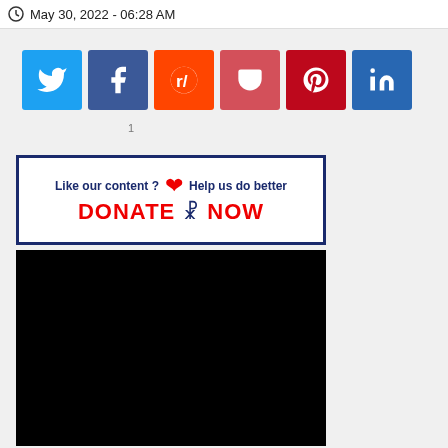May 30, 2022 - 06:28 AM
[Figure (infographic): Social sharing buttons row: Twitter (light blue), Facebook (dark blue), Reddit (orange), Pocket (pink/red), Pinterest (dark red), LinkedIn (blue)]
[Figure (infographic): Donate banner with navy border: 'Like our content ? [heart icon] Help us do better' on top row; 'DONATE [hand icon] NOW' in red on bottom row]
[Figure (photo): Black video player area]